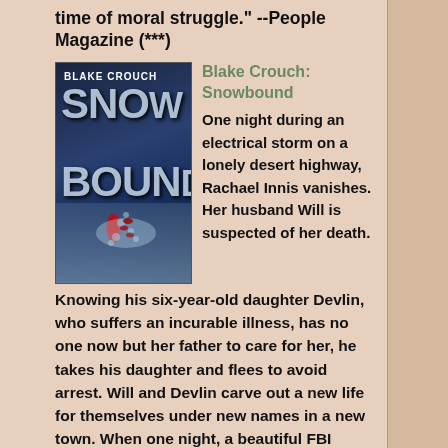time of moral struggle." --People Magazine (***)
[Figure (illustration): Book cover for Blake Crouch: Snowbound, showing snowy/icy landscape with footprints and red drops]
Blake Crouch: Snowbound
One night during an electrical storm on a lonely desert highway, Rachael Innis vanishes. Her husband Will is suspected of her death. Knowing his six-year-old daughter Devlin, who suffers an incurable illness, has no one now but her father to care for her, he takes his daughter and flees to avoid arrest. Will and Devlin carve out a new life for themselves under new names in a new town. When one night, a beautiful FBI agent appears on their doorstep, they fear the worst, but she hasn't come to arrest Will. She tells Will she can help him prove his innocence. Desperate for answers, Will and Devlin embark on a